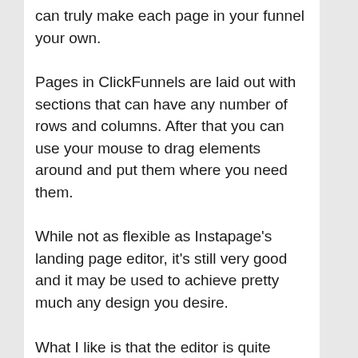can truly make each page in your funnel your own.
Pages in ClickFunnels are laid out with sections that can have any number of rows and columns. After that you can use your mouse to drag elements around and put them where you need them.
While not as flexible as Instapage's landing page editor, it's still very good and it may be used to achieve pretty much any design you desire.
What I like is that the editor is quite intuitive to use.
Selecting elements on the page and moving them where you want is quite seamless.
Text elements can be edited inline, and changing any element's properties can be done